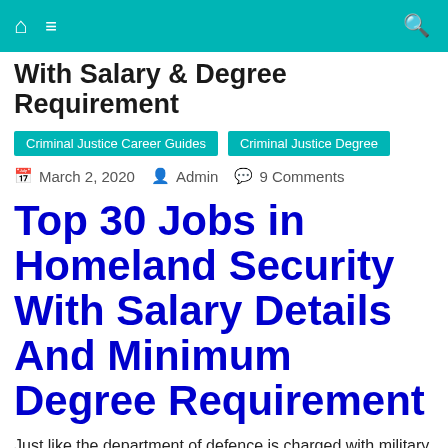With Salary & Degree Requirement
Criminal Justice Career Guides | Criminal Justice Degree
March 2, 2020  Admin  9 Comments
Top 30 Jobs in Homeland Security With Salary Details And Minimum Degree Requirement
Just like the department of defence is charged with military actions abroad, homeland security department provides for security within civilian sphere to protect united states from both inside and outside. There are a number of opportunities in homeland security in terms of